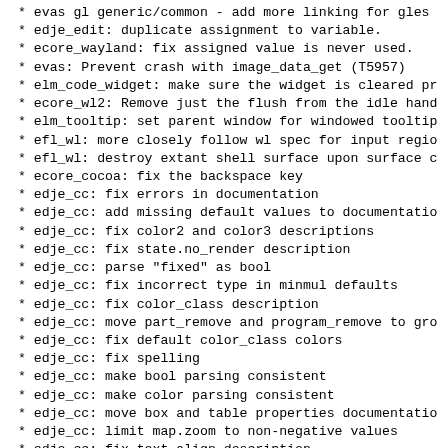* evas gl generic/common - add more linking for gles
* edje_edit: duplicate assignment to variable.
* ecore_wayland: fix assigned value is never used.
* evas: Prevent crash with image_data_get (T5957)
* elm_code_widget: make sure the widget is cleared pr
* ecore_wl2: Remove just the flush from the idle hand
* elm_tooltip: set parent window for windowed tooltip
* efl_wl: more closely follow wl spec for input regio
* efl_wl: destroy extant shell surface upon surface c
* ecore_cocoa: fix the backspace key
* edje_cc: fix errors in documentation
* edje_cc: add missing default values to documentatio
* edje_cc: fix color2 and color3 descriptions
* edje_cc: fix state.no_render description
* edje_cc: parse "fixed" as bool
* edje_cc: fix incorrect type in minmul defaults
* edje_cc: fix color_class description
* edje_cc: move part_remove and program_remove to gro
* edje_cc: fix default color_class colors
* edje_cc: fix spelling
* edje_cc: make bool parsing consistent
* edje_cc: make color parsing consistent
* edje_cc: move box and table properties documentatio
* edje_cc: limit map.zoom to non-negative values
* edje_cc: fix text.align description
* edje_cc: fix program.filter description
* edje_cc: fix item.max parsing
* ecore-drm2: Fix issue of not being able to set outp
* evas-software-generic: Check for render engine func
* emotion: Fix data race condition (CID1381624)